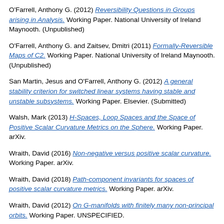O'Farrell, Anthony G. (2012) Reversibility Questions in Groups arising in Analysis. Working Paper. National University of Ireland Maynooth. (Unpublished)
O'Farrell, Anthony G. and Zaitsev, Dmitri (2011) Formally-Reversible Maps of C2. Working Paper. National University of Ireland Maynooth. (Unpublished)
San Martin, Jesus and O'Farrell, Anthony G. (2012) A general stability criterion for switched linear systems having stable and unstable subsystems. Working Paper. Elsevier. (Submitted)
Walsh, Mark (2013) H-Spaces, Loop Spaces and the Space of Positive Scalar Curvature Metrics on the Sphere. Working Paper. arXiv.
Wraith, David (2016) Non-negative versus positive scalar curvature. Working Paper. arXiv.
Wraith, David (2018) Path-component invariants for spaces of positive scalar curvature metrics. Working Paper. arXiv.
Wraith, David (2012) On G-manifolds with finitely many non-principal orbits. Working Paper. UNSPECIFIED.
Conference or Workshop Item
Aggarwal, Shubham and Malone, David (2021) On the Feasibility of Localising Smart Devices using Air Pressure. In: